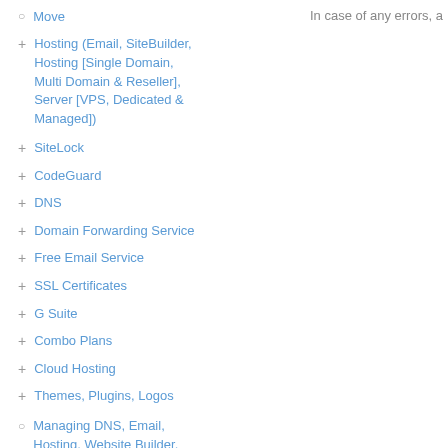Move
Hosting (Email, SiteBuilder, Hosting [Single Domain, Multi Domain & Reseller], Server [VPS, Dedicated & Managed])
SiteLock
CodeGuard
DNS
Domain Forwarding Service
Free Email Service
SSL Certificates
G Suite
Combo Plans
Cloud Hosting
Themes, Plugins, Logos
Managing DNS, Email, Hosting, Website Builder, SiteLock and CodeGuard through your HTTP API
In case of any errors, a